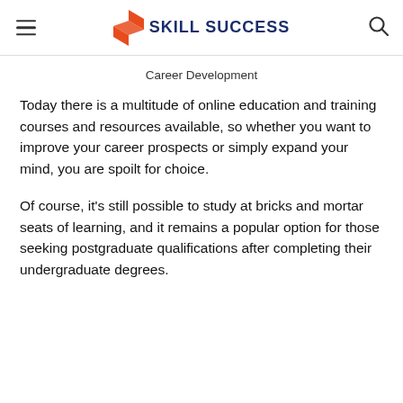SKILL SUCCESS
Career Development
Today there is a multitude of online education and training courses and resources available, so whether you want to improve your career prospects or simply expand your mind, you are spoilt for choice.
Of course, it's still possible to study at bricks and mortar seats of learning, and it remains a popular option for those seeking postgraduate qualifications after completing their undergraduate degrees.